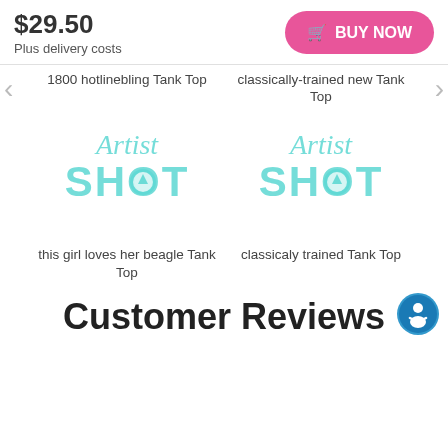$29.50
Plus delivery costs
BUY NOW
1800 hotlinebling Tank Top
classically-trained new Tank Top
[Figure (logo): Artist Shot logo in teal/turquoise color]
[Figure (logo): Artist Shot logo in teal/turquoise color]
this girl loves her beagle Tank Top
classicaly trained Tank Top
Customer Reviews